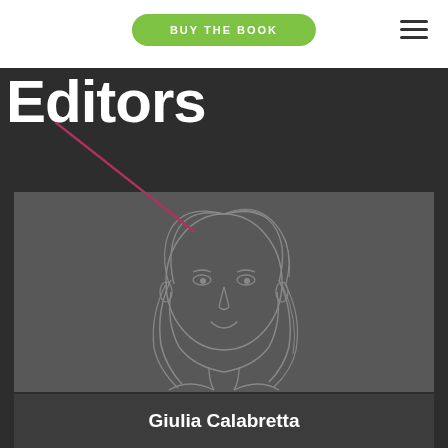BUY THE BOOK
Editors
[Figure (illustration): Line drawing / sketch illustration of a smiling woman with shoulder-length hair, shown from shoulders up, on a dark gray background]
Giulia Calabretta